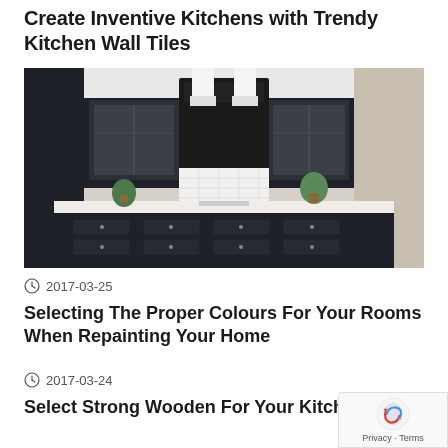Create Inventive Kitchens with Trendy Kitchen Wall Tiles
[Figure (photo): Modern kitchen interior with dark navy cabinets, white subway tile backsplash, pendant lights, and a kitchen island]
2017-03-25
Selecting The Proper Colours For Your Rooms When Repainting Your Home
2017-03-24
Select Strong Wooden For Your Kitchen